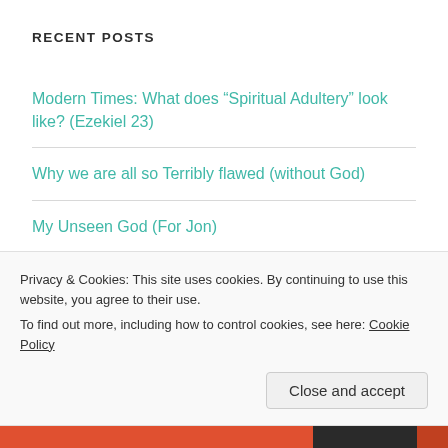RECENT POSTS
Modern Times: What does “Spiritual Adultery” look like? (Ezekiel 23)
Why we are all so Terribly flawed (without God)
My Unseen God (For Jon)
Feeling Irritable..?
Privacy & Cookies: This site uses cookies. By continuing to use this website, you agree to their use.
To find out more, including how to control cookies, see here: Cookie Policy
Close and accept